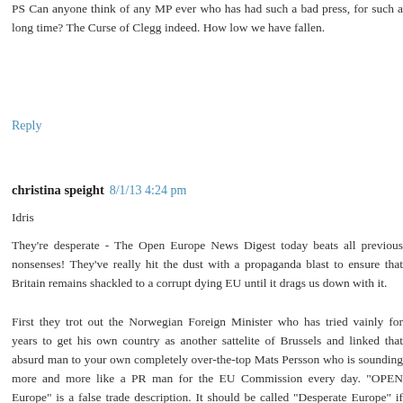PS Can anyone think of any MP ever who has had such a bad press, for such a long time? The Curse of Clegg indeed. How low we have fallen.
Reply
christina speight 8/1/13 4:24 pm
Idris
They're desperate - The Open Europe News Digest today beats all previous nonsenses! They've really hit the dust with a propaganda blast to ensure that Britain remains shackled to a corrupt dying EU until it drags us down with it.
First they trot out the Norwegian Foreign Minister who has tried vainly for years to get his own country as another sattelite of Brussels and linked that absurd man to your own completely over-the-top Mats Persson who is sounding more and more like a PR man for the EU Commission every day. "OPEN Europe" is a false trade description. It should be called "Desperate Europe" if you have to fall